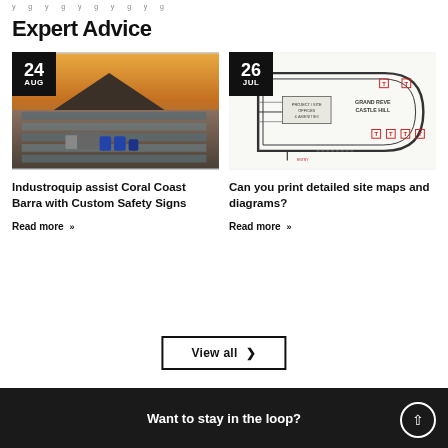y g y g y g y g
Expert Advice
[Figure (photo): Aerial photo of Coral Coast Barra fish farm ponds with blue barrels and truck, sunset in background. Date badge: 24 AUG]
Industroquip assist Coral Coast Barra with Custom Safety Signs
Read more >>
[Figure (engineering-diagram): Site plan/map diagram of Grand Reve Castle Hill development with labeled zones, red T markers, and road layout. Date badge: 26 JUL]
Can you print detailed site maps and diagrams?
Read more >>
View all >
Want to stay in the loop?